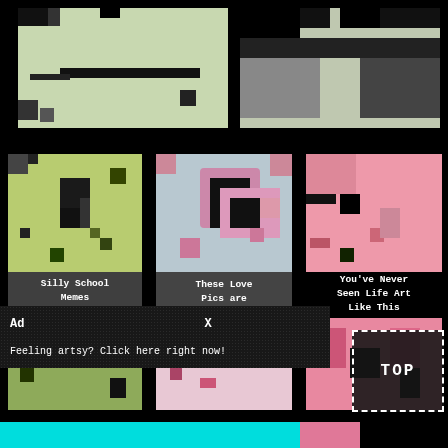[Figure (screenshot): Top banner area showing pixelated/glitchy images on black background — left side shows a pale greenish pixelated image, right side shows dark pixelated shapes]
[Figure (screenshot): Three-column grid of pixelated thumbnails. Left column: green/yellow glitchy pixel art. Center column: pink/black glitch art with 'These Love Pics are Pretty Funny' label. Right column: pink/salmon glitch art with 'You've Never Seen Life Art Like This' label. Left column labeled 'Silly School Memes'.]
Silly School Memes
These Love Pics are Pretty Funny
You've Never Seen Life Art Like This
Ad
X
Feeling artsy? Click here right now!
TOP